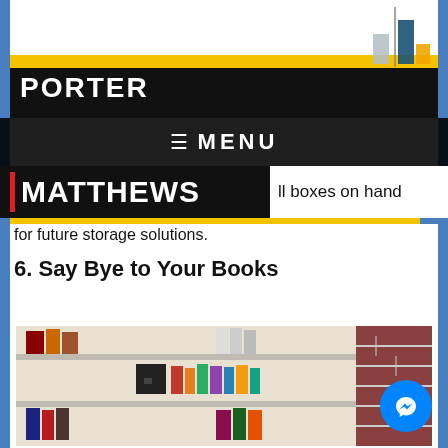[Figure (logo): Porter Matthews logo with bar chart icon and yellow/black header bar]
MENU
| MATTHEWS   ll boxes on hand for future storage solutions.
6. Say Bye to Your Books
[Figure (photo): Photograph of a bookcase with multiple shelves filled with books including cookbooks and binders, next to a brick wall]